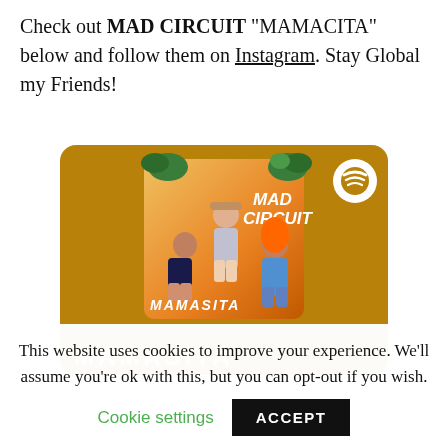Check out MAD CIRCUIT "MAMACITA" below and follow them on Instagram. Stay Global my Friends!
[Figure (screenshot): Spotify embedded player card with golden/amber background showing the MAD CIRCUIT 'MAMASITA' album art featuring three people posing on an orange background with tropical plants, and the text 'MAMASITA' in white at the bottom of the card]
This website uses cookies to improve your experience. We'll assume you're ok with this, but you can opt-out if you wish.
Cookie settings   ACCEPT